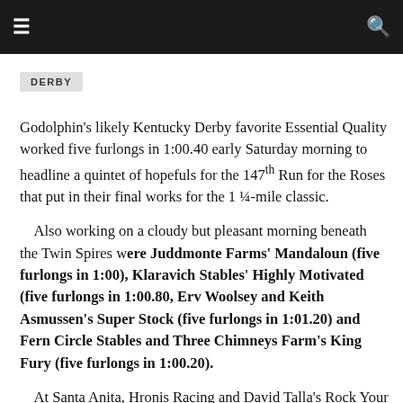☰  [search icon]
DERBY
Godolphin's likely Kentucky Derby favorite Essential Quality worked five furlongs in 1:00.40 early Saturday morning to headline a quintet of hopefuls for the 147th Run for the Roses that put in their final works for the 1 ¼-mile classic.
Also working on a cloudy but pleasant morning beneath the Twin Spires were Juddmonte Farms' Mandaloun (five furlongs in 1:00), Klaravich Stables' Highly Motivated (five furlongs in 1:00.80, Erv Woolsey and Keith Asmussen's Super Stock (five furlongs in 1:01.20) and Fern Circle Stables and Three Chimneys Farm's King Fury (five furlongs in 1:00.20).
At Santa Anita, Hronis Racing and David Talla's Rock Your World worked five furlongs in :59.20. Roadrunner Racing, Boat Racing and Strauss Bros Racing's Hot Rod Charlie was scheduled